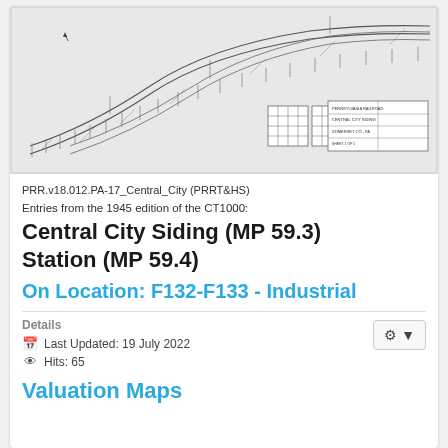[Figure (engineering-diagram): Engineering/valuation map showing curved railroad tracks and siding at Central City, Pennsylvania Railroad. Blueprint-style drawing with track layout, measurement marks, and title block in lower right.]
PRR.v18.012.PA-17_Central_City (PRRT&HS)
Entries from the 1945 edition of the CT1000:
Central City Siding (MP 59.3) Station (MP 59.4)
On Location: F132-F133 - Industrial
Details
Last Updated: 19 July 2022
Hits: 65
Valuation Maps